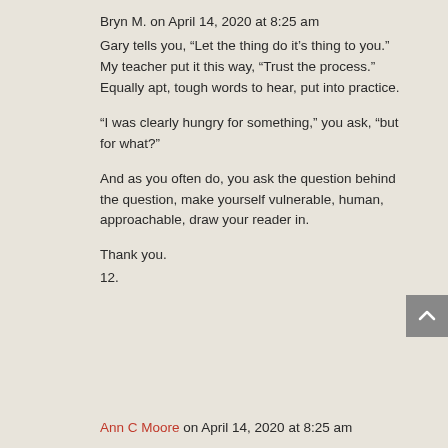Bryn M. on April 14, 2020 at 8:25 am
Gary tells you, “Let the thing do it’s thing to you.” My teacher put it this way, “Trust the process.” Equally apt, tough words to hear, put into practice.

“I was clearly hungry for something,” you ask, “but for what?”

And as you often do, you ask the question behind the question, make yourself vulnerable, human, approachable, draw your reader in.

Thank you.
12.
Ann C Moore on April 14, 2020 at 8:25 am